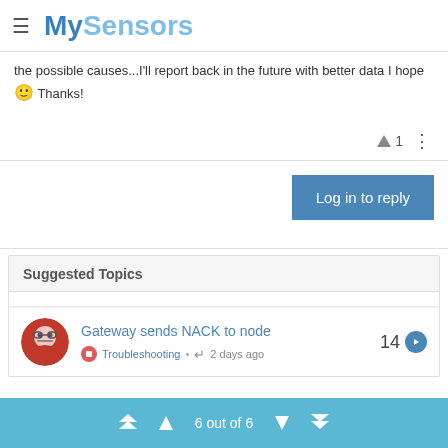MySensors
the possible causes...I'll report back in the future with better data I hope 🙂 Thanks!
▲ 1  ⋮
Log in to reply
Suggested Topics
Gateway sends NACK to node
Troubleshooting • ↩ 2 days ago
14
6 out of 6